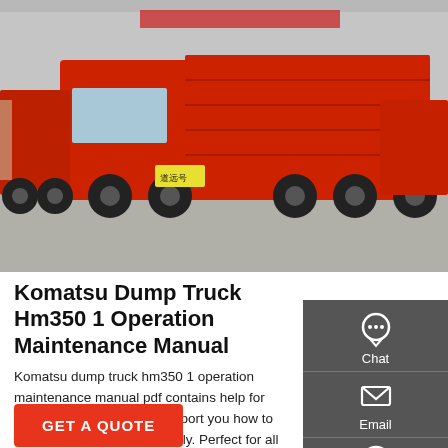[Figure (photo): Photo of red Komatsu dump trucks parked in a row on a concrete lot.]
Komatsu Dump Truck Hm350 1 Operation Maintenance Manual
Komatsu dump truck hm350 1 operation maintenance manual pdf contains help for troubleshooting and will support you how to fix your problems immediately. Perfect for all DIY persons!. Your Do-It-Yourself specialist for service manuals, workshop manuals, factory manuals, owner manuals, spare parts catalog and user manuals.
GET A QUOTE